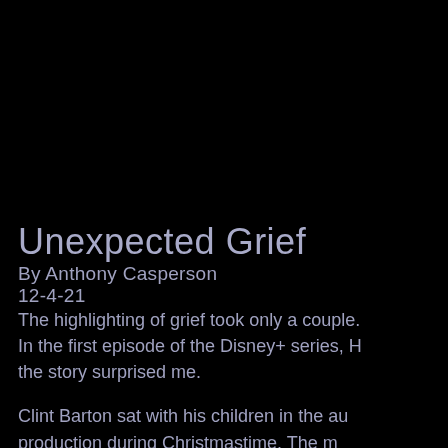Unexpected Grief
By Anthony Casperson
12-4-21
The highlighting of grief took only a couple. In the first episode of the Disney+ series, H the story surprised me.
Clint Barton sat with his children in the au production during Christmastime. The m